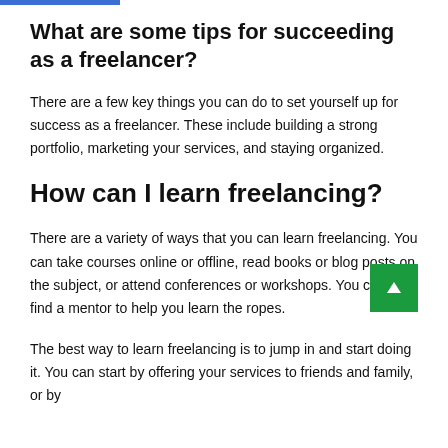What are some tips for succeeding as a freelancer?
There are a few key things you can do to set yourself up for success as a freelancer. These include building a strong portfolio, marketing your services, and staying organized.
How can I learn freelancing?
There are a variety of ways that you can learn freelancing. You can take courses online or offline, read books or blog posts on the subject, or attend conferences or workshops. You can also find a mentor to help you learn the ropes.
The best way to learn freelancing is to jump in and start doing it. You can start by offering your services to friends and family, or by